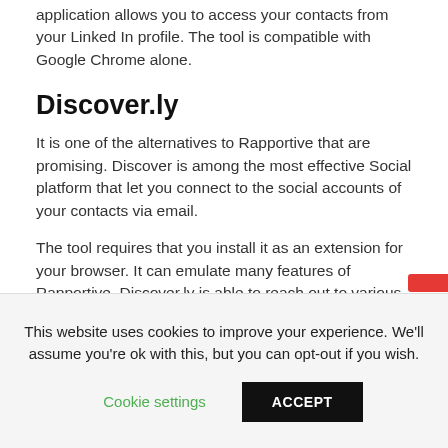application allows you to access your contacts from your Linked In profile. The tool is compatible with Google Chrome alone.
Discover.ly
It is one of the alternatives to Rapportive that are promising. Discover is among the most effective Social platform that let you connect to the social accounts of your contacts via email.
The tool requires that you install it as an extension for your browser. It can emulate many features of Rapportive. Discover.ly is able to reach out to various social networks, including recent tweets and friendships with mutual friends. The tool is designed to improve the capabilities that Rapportive used to offer before. It
This website uses cookies to improve your experience. We'll assume you're ok with this, but you can opt-out if you wish.

Cookie settings    ACCEPT